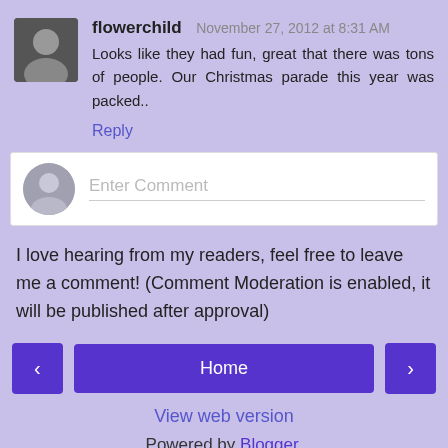flowerchild November 27, 2012 at 8:31 AM
Looks like they had fun, great that there was tons of people. Our Christmas parade this year was packed..
Reply
[Figure (other): Comment input box with placeholder text 'Enter Comment' and a gray avatar icon]
I love hearing from my readers, feel free to leave me a comment! (Comment Moderation is enabled, it will be published after approval)
< Home >
View web version
Powered by Blogger.